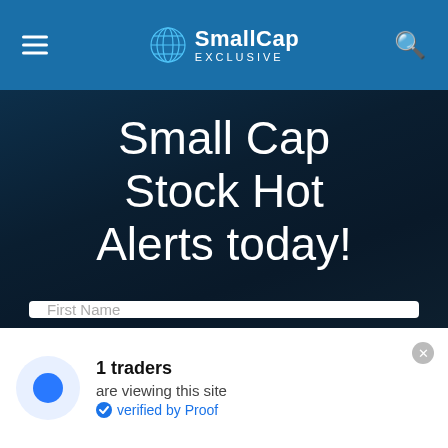SmallCap EXCLUSIVE
Small Cap Stock Hot Alerts today!
First Name
Best Email
GET ALERTS
1 traders are viewing this site verified by Proof